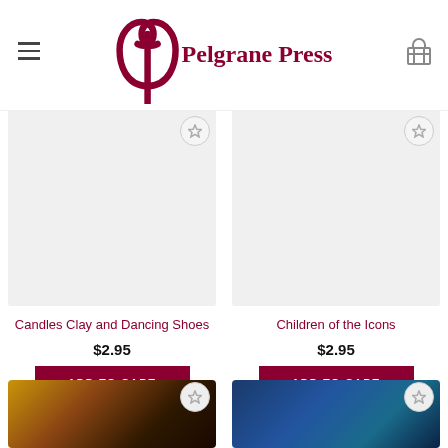Pelgrane Press
[Figure (screenshot): Product card: Candles Clay and Dancing Shoes, $2.95, with gray placeholder image and wishlist button]
[Figure (screenshot): Product card: Children of the Icons, $2.95, with gray placeholder image and wishlist button]
[Figure (screenshot): Partial product card bottom row left, dark fantasy game book cover image visible]
[Figure (screenshot): Partial product card bottom row right, blue fantasy game book cover image visible]